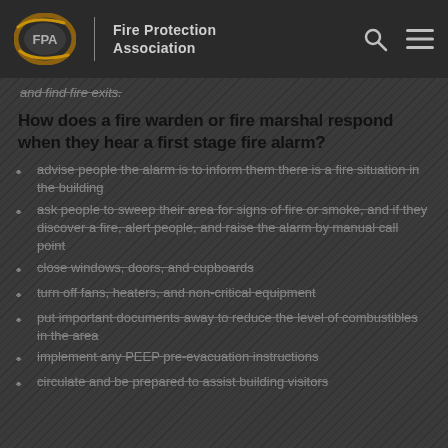[Figure (logo): Fire Protection Association logo with oval FPA emblem in brown/gold and text 'Fire Protection Association' with search and menu icons]
and find fire exits.
How does a fire warden or fire marshal respond when they hear a first stage fire alarm?
advise people the alarm is to inform them there is a fire situation in the building
ask people to sweep their area for signs of fire or smoke, and if they discover a fire, alert people, and raise the alarm by manual call point
close windows, doors, and cupboards
turn off fans, heaters, and non-critical equipment
put important documents away to reduce the level of combustibles in the area
implement any PEEP pre-evacuation instructions